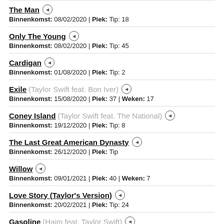The Man | Binnenkomst: 08/02/2020 | Piek: Tip: 18
Only The Young | Binnenkomst: 08/02/2020 | Piek: Tip: 45
Cardigan | Binnenkomst: 01/08/2020 | Piek: Tip: 2
Exile (Taylor Swift feat. Bon Iver) | Binnenkomst: 15/08/2020 | Piek: 37 | Weken: 17
Coney Island (Taylor Swift feat. The National) | Binnenkomst: 19/12/2020 | Piek: Tip: 8
The Last Great American Dynasty | Binnenkomst: 26/12/2020 | Piek: Tip
Willow | Binnenkomst: 09/01/2021 | Piek: 40 | Weken: 7
Love Story (Taylor's Version) | Binnenkomst: 20/02/2021 | Piek: Tip: 24
Gasoline (Haim feat. Taylor Swift)